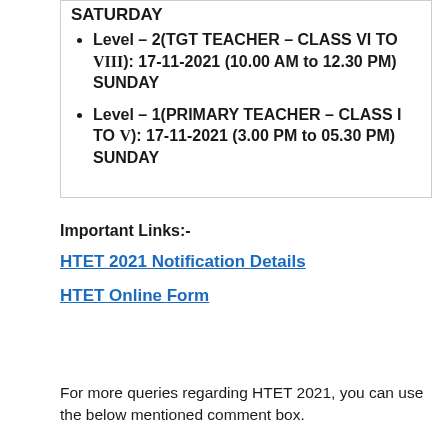SATURDAY
Level – 2(TGT TEACHER – CLASS VI TO VIII): 17-11-2021 (10.00 AM to 12.30 PM) SUNDAY
Level – 1(PRIMARY TEACHER – CLASS I TO V): 17-11-2021 (3.00 PM to 05.30 PM) SUNDAY
Important Links:-
HTET 2021 Notification Details
HTET Online Form
For more queries regarding HTET 2021, you can use the below mentioned comment box.